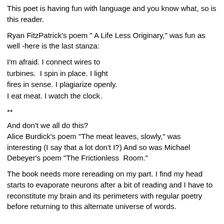This poet is having fun with language and you know what, so is this reader.
Ryan FitzPatrick's poem " A Life Less Originary," was fun as well -here is the last stanza:
I'm afraid. I connect wires to
turbines.  I spin in place. I light
fires in sense. I plagiarize openly.
I eat meat. I watch the clock.
**
And don't we all do this?
Alice Burdick's poem "The meat leaves, slowly," was interesting (I say that a lot don't I?) And so was Michael Debeyer's poem "The Frictionless  Room."
The book needs more rereading on my part. I find my head starts to evaporate neurons after a bit of reading and I have to reconstitute my brain and its perimeters with regular poetry before returning to this alternate universe of words.